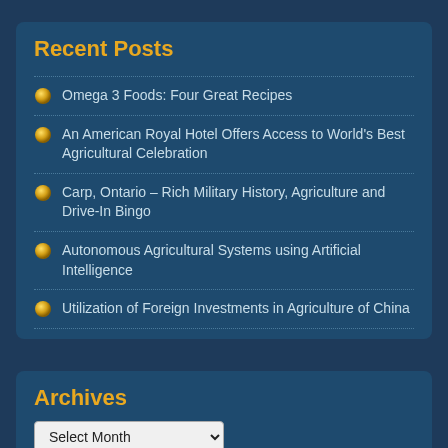Recent Posts
Omega 3 Foods: Four Great Recipes
An American Royal Hotel Offers Access to World's Best Agricultural Celebration
Carp, Ontario – Rich Military History, Agriculture and Drive-In Bingo
Autonomous Agricultural Systems using Artificial Intelligence
Utilization of Foreign Investments in Agriculture of China
Archives
Select Month